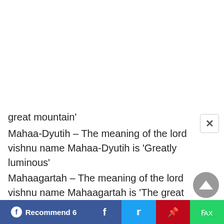great mountain'
Mahaa-Dyutih – The meaning of the lord vishnu name Mahaa-Dyutih is 'Greatly luminous'
Mahaagartah – The meaning of the lord vishnu name Mahaagartah is 'The great chasm'
Mahaahavih – The meaning of the lord vishnu name Mahaahavih is 'The great offering'
Mahaahradah – The meaning of the lord vishnu name Mahaahradah is 'One who is like a great refreshing swimming pool'
Mahaakarmaa – The meaning of the lord vishnu
Recommend 6  f  t  p  whatsapp